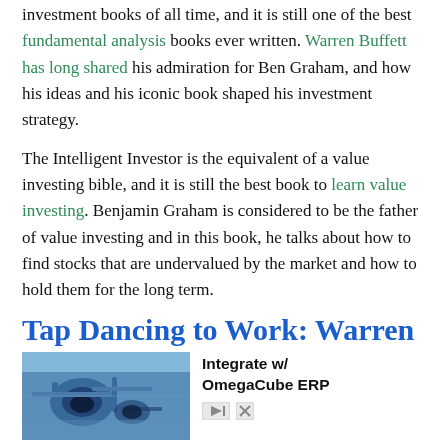investment books of all time, and it is still one of the best fundamental analysis books ever written. Warren Buffett has long shared his admiration for Ben Graham, and how his ideas and his iconic book shaped his investment strategy.
The Intelligent Investor is the equivalent of a value investing bible, and it is still the best book to learn value investing. Benjamin Graham is considered to be the father of value investing and in this book, he talks about how to find stocks that are undervalued by the market and how to hold them for the long term.
Tap Dancing to Work: Warren
[Figure (photo): Advertisement showing industrial/manufacturing machinery in blue tones. Text reads: Integrate w/ OmegaCube ERP]